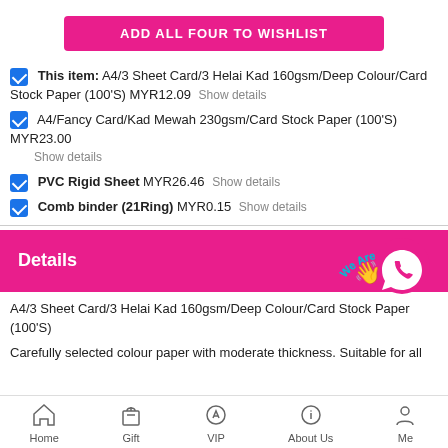ADD ALL FOUR TO WISHLIST
This item: A4/3 Sheet Card/3 Helai Kad 160gsm/Deep Colour/Card Stock Paper (100'S) MYR12.09  Show details
A4/Fancy Card/Kad Mewah 230gsm/Card Stock Paper (100'S) MYR23.00  Show details
PVC Rigid Sheet MYR26.46  Show details
Comb binder (21Ring) MYR0.15  Show details
Details
A4/3 Sheet Card/3 Helai Kad 160gsm/Deep Colour/Card Stock Paper (100'S)
Carefully selected colour paper with moderate thickness. Suitable for all
Home  Gift  VIP  About Us  Me